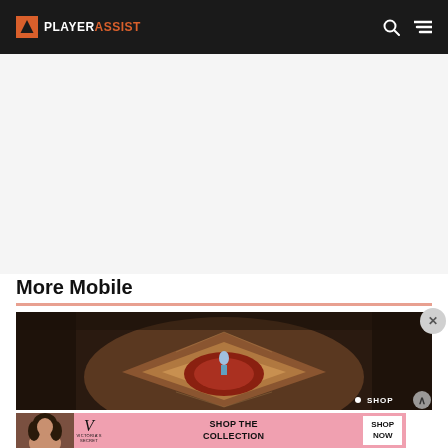PLAYER ASSIST
[Figure (screenshot): White/light gray advertisement space placeholder area]
More Mobile
[Figure (screenshot): Game screenshot showing top-down RPG/MOBA style scene with a character on a colorful arena floor, dark warm-toned surroundings, with a SHOP overlay badge in bottom right]
[Figure (photo): Victoria's Secret advertisement banner showing a woman with curly hair on the left side and promotional text SHOP THE COLLECTION with a SHOP NOW button on pink background]